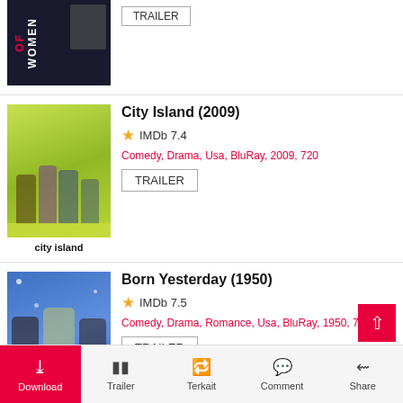[Figure (photo): Partial movie poster from previous entry showing dark background with text 'OF WOMEN' and a TRAILER button]
City Island (2009)
IMDb 7.4
Comedy, Drama, Usa, BluRay, 2009, 720
TRAILER
[Figure (photo): City Island movie poster showing group of people at a dinner table on a green/yellow background with text 'city island' at bottom]
Born Yesterday (1950)
IMDb 7.5
Comedy, Drama, Romance, Usa, BluRay, 1950, 720
TRAILER
[Figure (photo): Born Yesterday movie poster showing three people with a yellow sign reading 'Born Yesterday' on a blue/sparkle background]
Download | Trailer | Terkait | Comment | Share